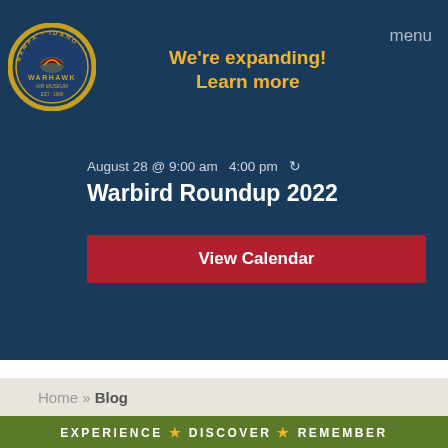We're expanding! Learn more  menu
August 28 @ 9:00 am  4:00 pm
Warbird Roundup 2022
View Calendar
Home » Blog
EXPERIENCE ★ DISCOVER ★ REMEMBER
Hours
Tuesday–Saturday: 9am–5pm
Sunday: 11am–4pm